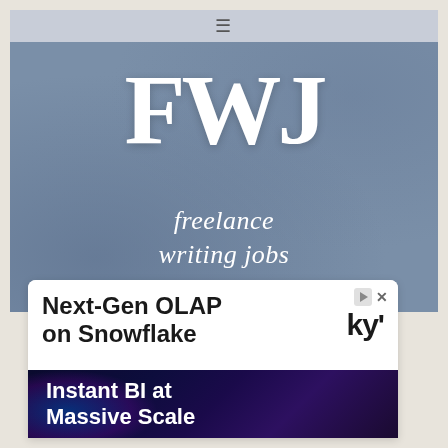≡
[Figure (logo): FWJ Freelance Writing Jobs logo on a blue-grey textured background. Large serif letters 'FWJ' above the text 'freelance writing jobs' in italic.]
[Figure (screenshot): Advertisement card for Kyligence. Top section white background reads 'Next-Gen OLAP on Snowflake' with 'ky'' brand mark. Bottom section dark navy gradient reads 'Instant BI at Massive Scale'.]